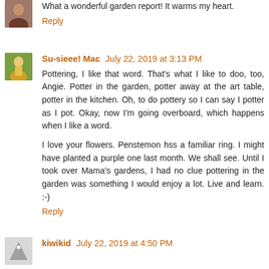What a wonderful garden report! It warms my heart.
Reply
Su-sieee! Mac  July 22, 2019 at 3:13 PM
Pottering, I like that word. That's what I like to doo, too, Angie. Potter in the garden, potter away at the art table, potter in the kitchen. Oh, to do pottery so I can say I potter as I pot. Okay, now I'm going overboard, which happens when I like a word.
I love your flowers. Penstemon hss a familiar ring. I might have planted a purple one last month. We shall see. Until I took over Mama's gardens, I had no clue pottering in the garden was something I would enjoy a lot. Live and learn. :-)
Reply
kiwikid  July 22, 2019 at 4:50 PM